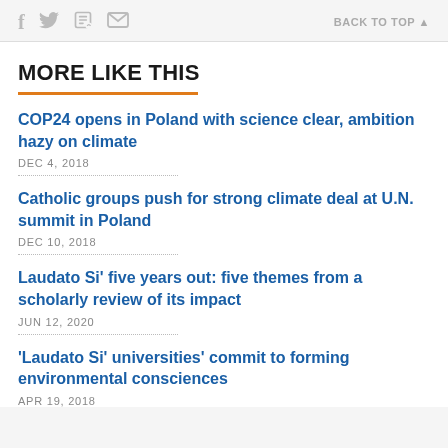f  [twitter]  [print]  [mail]   BACK TO TOP ▲
MORE LIKE THIS
COP24 opens in Poland with science clear, ambition hazy on climate
DEC 4, 2018
Catholic groups push for strong climate deal at U.N. summit in Poland
DEC 10, 2018
Laudato Si' five years out: five themes from a scholarly review of its impact
JUN 12, 2020
'Laudato Si' universities' commit to forming environmental consciences
APR 19, 2018